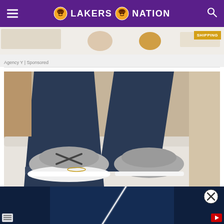LAKERS NATION
[Figure (screenshot): Partial ad banner with product images and SHIPPING badge, Agency Y | Sponsored label]
[Figure (photo): Close-up photo of a woman's feet wearing gray athletic sneakers/sandals with dark straps, white soles, jeans rolled up, anklet bracelet visible, sitting on white fuzzy surface]
[Figure (screenshot): Video overlay with dark navy blue background showing a white contrail streak in the sky, close button (X) in top right, small icons in bottom corners]